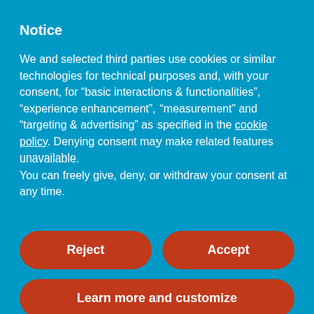Notice
We and selected third parties use cookies or similar technologies for technical purposes and, with your consent, for “basic interactions & functionalities”, “experience enhancement”, “measurement” and “targeting & advertising” as specified in the cookie policy. Denying consent may make related features unavailable.
You can freely give, deny, or withdraw your consent at any time.
Reject
Accept
Learn more and customize
Articles in Spanish
How to Say the Time in Spanish
Ser or Estar in Spanish